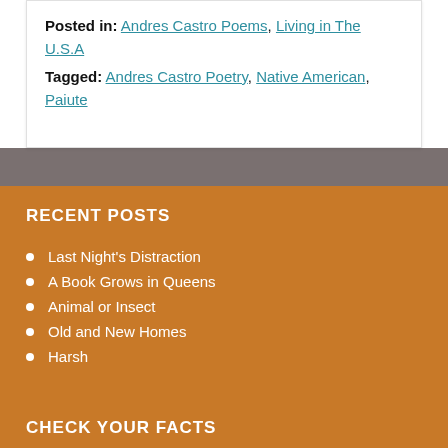Posted in: Andres Castro Poems, Living in The U.S.A
Tagged: Andres Castro Poetry, Native American, Paiute
RECENT POSTS
Last Night's Distraction
A Book Grows in Queens
Animal or Insect
Old and New Homes
Harsh
CHECK YOUR FACTS